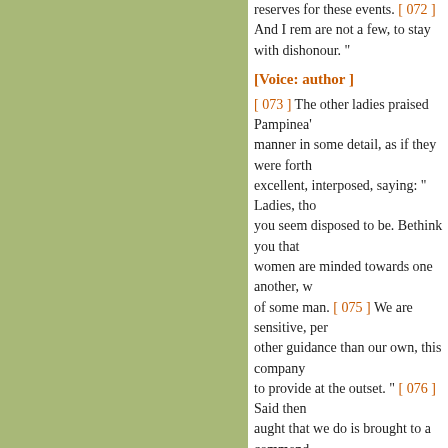reserves for these events. [ 072 ] And I rem are not a few, to stay with dishonour. “
[Voice: author ]
[ 073 ] The other ladies praised Pampinea’s manner in some detail, as if they were forth excellent, interposed, saying: “ Ladies, tho you seem disposed to be. Bethink you that women are minded towards one another, w of some man. [ 075 ] We are sensitive, per other guidance than our own, this company to provide at the outset. “ [ 076 ] Said then aught that we do is brought to a commend her kinsmen are for the most part dead, an escaping the same fate as ourselves; nor w means so to order matters that, wherever w
[Voice: author ]
[ 078 ] While the ladies were thus conversi the youngest was less than twenty-five yea their own safety, had availed to quench, or Filostrato, and the third Dioneo. Very debo exceeding great solace, they might have si some that were of kin to the young men. [ 0 wherefore, with a gracious smile, Pampine offices of these young men, who are as ga them into our service. “ [ 081 ] Whereupo